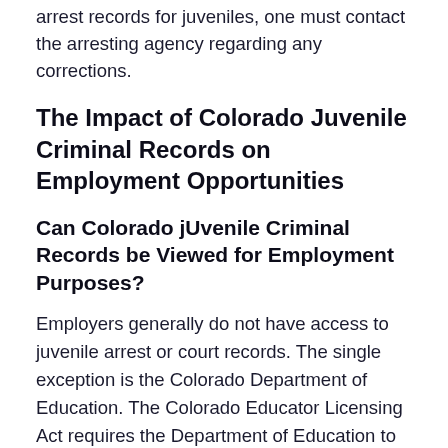arrest records for juveniles, one must contact the arresting agency regarding any corrections.
The Impact of Colorado Juvenile Criminal Records on Employment Opportunities
Can Colorado jUvenile Criminal Records be Viewed for Employment Purposes?
Employers generally do not have access to juvenile arrest or court records. The single exception is the Colorado Department of Education. The Colorado Educator Licensing Act requires the Department of Education to provide to any public, private, or charter school that requests all information it has or can